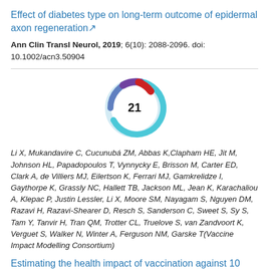Effect of diabetes type on long-term outcome of epidermal axon regeneration
Ann Clin Transl Neurol, 2019; 6(10): 2088-2096. doi: 10.1002/acn3.50904
[Figure (donut-chart): Altmetric donut chart showing score of 21, colored in blue, purple, and red segments]
Li X, Mukandavire C, Cucunubá ZM, Abbas K, Clapham HE, Jit M, Johnson HL, Papadopoulos T, Vynnycky E, Brisson M, Carter ED, Clark A, de Villiers MJ, Eilertson K, Ferrari MJ, Gamkrelidze I, Gaythorpe K, Grassly NC, Hallett TB, Jackson ML, Jean K, Karachaliou A, Klepac P, Justin Lessler, Li X, Moore SM, Nayagam S, Nguyen DM, Razavi H, Razavi-Shearer D, Resch S, Sanderson C, Sweet S, Sy S, Tam Y, Tanvir H, Tran QM, Trotter CL, Truelove S, van Zandvoort K, Verguet S, Walker N, Winter A, Ferguson NM, Garske T(Vaccine Impact Modelling Consortium)
Estimating the health impact of vaccination against 10 pathogens in 98 low and middle income